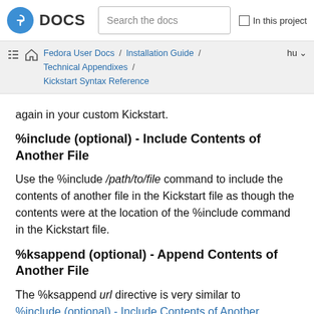Fedora DOCS | Search the docs | In this project
Fedora User Docs / Installation Guide / Technical Appendixes / Kickstart Syntax Reference | hu
again in your custom Kickstart.
%include (optional) - Include Contents of Another File
Use the %include /path/to/file command to include the contents of another file in the Kickstart file as though the contents were at the location of the %include command in the Kickstart file.
%ksappend (optional) - Append Contents of Another File
The %ksappend url directive is very similar to %include (optional) - Include Contents of Another